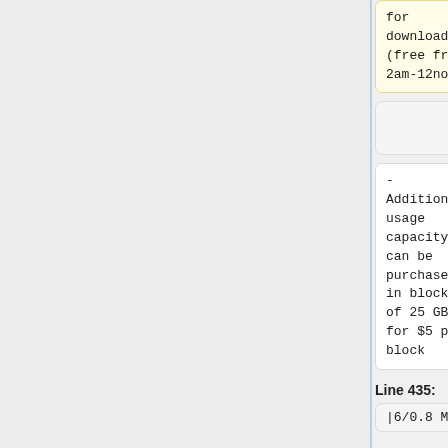usage cap for download (free from 2am-12noon).
usage cap for download usage (free from 2am-12noon).
- Additional usage capacity can be purchased in blocks of 25 GB for $5 per block
- Additional usage capacity can be purchased in blocks of 25 GB for $5 per block
Line 435:
Line 435:
|6/0.8 Mbps
|6/0.8 Mbps